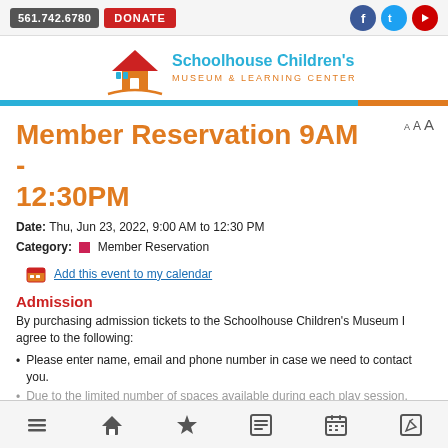561.742.6780 | DONATE | [Facebook] [Twitter] [YouTube]
[Figure (logo): Schoolhouse Children's Museum & Learning Center logo with house icon and blue/orange text]
Member Reservation 9AM - 12:30PM
Date: Thu, Jun 23, 2022, 9:00 AM to 12:30 PM
Category: Member Reservation
Add this event to my calendar
Admission
By purchasing admission tickets to the Schoolhouse Children's Museum I agree to the following:
Please enter name, email and phone number in case we need to contact you.
Due to the limited number of spaces available during each play session, refunds are not available.
I confirm no one in my party has any symptoms of illness.
[Menu] [Home] [Favorites] [News] [Calendar] [Edit]